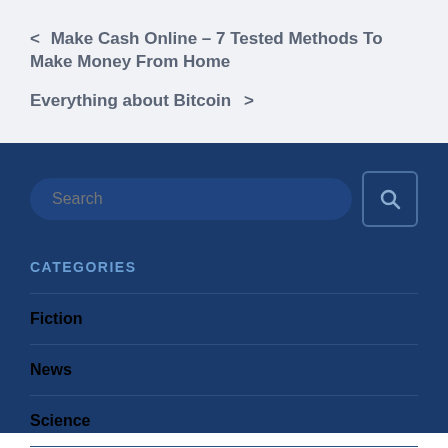< Make Cash Online – 7 Tested Methods To Make Money From Home
Everything about Bitcoin >
[Figure (screenshot): Search input bar with rounded pill shape and a search button with magnifying glass icon]
CATEGORIES
Fiction
News
Science
Sports